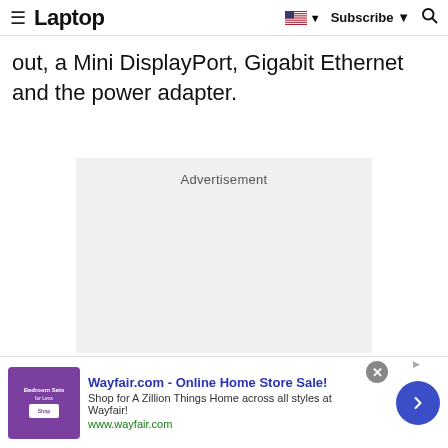Laptop | Subscribe
out, a Mini DisplayPort, Gigabit Ethernet and the power adapter.
[Figure (other): Advertisement placeholder block (light gray background with 'Advertisement' label)]
[Figure (other): Wayfair.com advertisement banner: 'Wayfair.com - Online Home Store Sale! Shop for A Zillion Things Home across all styles at Wayfair! www.wayfair.com' with purple thumbnail image and blue arrow button]